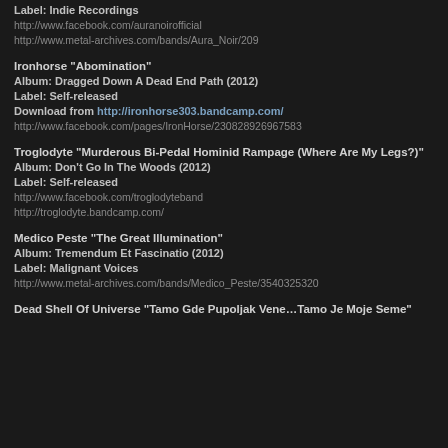Label: Indie Recordings
http://www.facebook.com/auranoirofficial
http://www.metal-archives.com/bands/Aura_Noir/209
Ironhorse "Abomination"
Album: Dragged Down A Dead End Path (2012)
Label: Self-released
Download from http://ironhorse303.bandcamp.com/
http://www.facebook.com/pages/IronHorse/230828926967583
Troglodyte "Murderous Bi-Pedal Hominid Rampage (Where Are My Legs?)"
Album: Don't Go In The Woods (2012)
Label: Self-released
http://www.facebook.com/troglodyteband
http://troglodyte.bandcamp.com/
Medico Peste "The Great Illumination"
Album: Tremendum Et Fascinatio (2012)
Label: Malignant Voices
http://www.metal-archives.com/bands/Medico_Peste/3540325320
Dead Shell Of Universe "Tamo Gde Pupoljak Vene…Tamo Je Moje Seme"